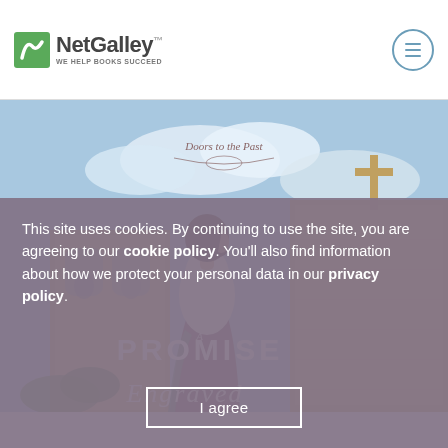[Figure (logo): NetGalley logo with green swirl icon and text 'NetGalley — WE HELP BOOKS SUCCEED']
[Figure (photo): Book cover for 'A Promise Engraved' — Doors to the Past series. Shows a woman in period dress facing away toward a stone church/mission building with a cross, blue sky with clouds.]
This site uses cookies. By continuing to use the site, you are agreeing to our cookie policy. You'll also find information about how we protect your personal data in our privacy policy.
I agree